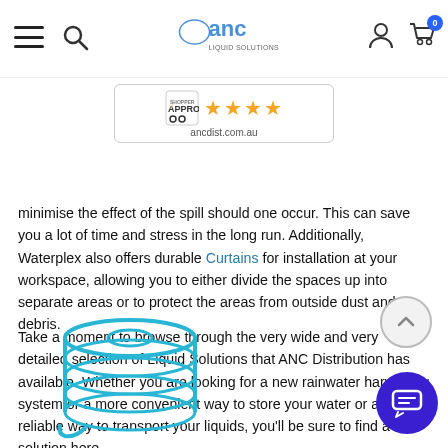ANC Distribution website header with hamburger menu, search icon, ANC logo, account icon, and cart (0)
[Figure (other): Shopper Approved badge with 4 stars and website ancdist.com.au]
minimise the effect of the spill should one occur. This can save you a lot of time and stress in the long run. Additionally, Waterplex also offers durable Curtains for installation at your workspace, allowing you to either divide the spaces up into separate areas or to protect the areas from outside dust and debris.
Take a moment to browse through the very wide and very detailed selection of Liquid Solutions that ANC Distribution has available. Whether you are looking for a new rainwater harvesting system or a more convenient way to store your water or a more reliable way to transport your liquids, you'll be sure to find a solution here.
[Figure (illustration): Blue stacked tank / cylindrical storage vessel illustration (partial, bottom of page)]
[Figure (illustration): Scroll-to-top button (chevron up in light grey circle)]
[Figure (illustration): Blue chat button (speech bubble icon in dark blue circle)]